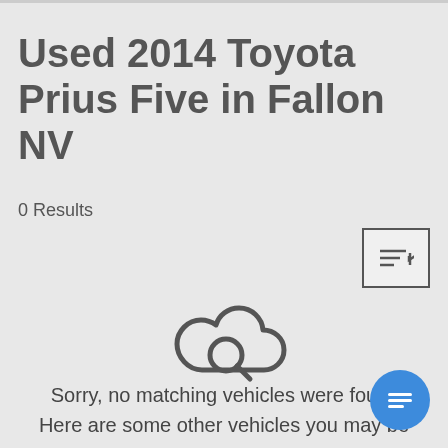Used 2014 Toyota Prius Five in Fallon NV
0 Results
[Figure (illustration): Cloud with magnifying glass search icon]
Sorry, no matching vehicles were found. Here are some other vehicles you may be